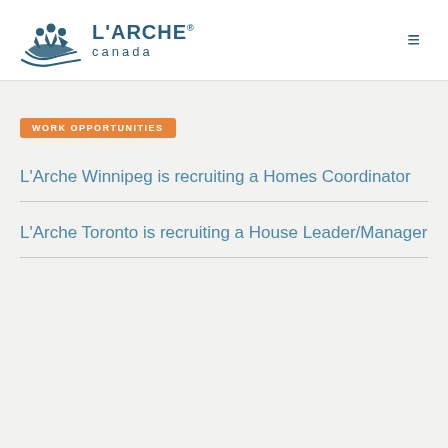[Figure (logo): L'Arche Canada logo with three figures in a boat and text reading L'ARCHE canada]
WORK OPPORTUNITIES
L'Arche Winnipeg is recruiting a Homes Coordinator
L'Arche Toronto is recruiting a House Leader/Manager